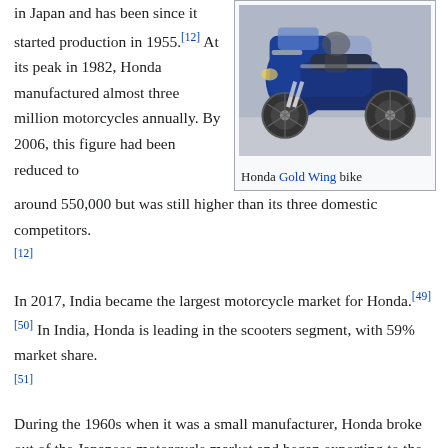in Japan and has been since it started production in 1955.[12] At its peak in 1982, Honda manufactured almost three million motorcycles annually. By 2006, this figure had been reduced to around 550,000 but was still higher than its three domestic competitors.[12]
[Figure (photo): Photo of a Honda Gold Wing motorcycle, blue colored, displayed at what appears to be a show or exhibition.]
Honda Gold Wing bike
In 2017, India became the largest motorcycle market for Honda.[49][50] In India, Honda is leading in the scooters segment, with 59% market share.[51]
During the 1960s when it was a small manufacturer, Honda broke out of the Japanese motorcycle market and began exporting to the United States. Working with the advertising agency Grey Advertising, Honda created an innovative marketing campaign, using the slogan "You meet the nicest